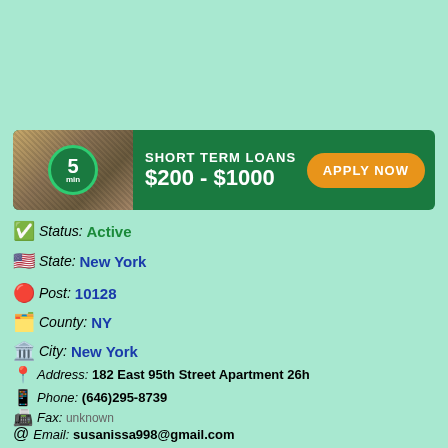[Figure (infographic): Short Term Loans banner: $200-$1000, Apply Now button, 5 min timer circle, cash photo background]
Status: Active
State: New York
Post: 10128
County: NY
City: New York
Address: 182 East 95th Street Apartment 26h
Phone: (646)295-8739
Fax: unknown
Email: susanissa998@gmail.com
Contact Mr: (646) 295-8739